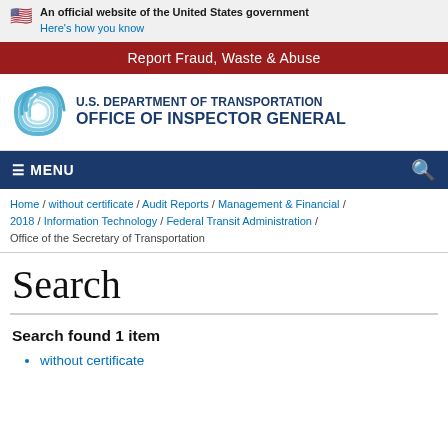An official website of the United States government Here's how you know
Report Fraud, Waste & Abuse
[Figure (logo): U.S. Department of Transportation Office of Inspector General logo with swirl emblem]
≡ MENU
Home / without certificate / Audit Reports / Management & Financial / 2018 / Information Technology / Federal Transit Administration / Office of the Secretary of Transportation
Search
Search found 1 item
without certificate